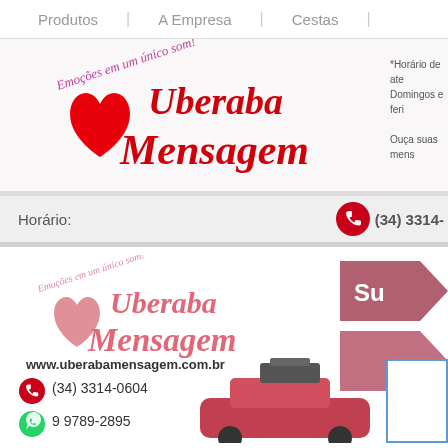Produtos | A Empresa | Cestas
[Figure (logo): Uberaba Mensagem logo with heart and cursive text 'Emoções em um único som!' in purple/pink, and 'Uberaba Mensagem' in red script]
*Horário de ate... Domingos e feri... Ouça suas mens...
Horário:
[Figure (logo): Red phone icon with phone number (34) 3314-]
[Figure (logo): Uberaba Mensagem footer logo - lighter pink version with heart and cursive text]
www.uberabamensagem.com.br
[Figure (logo): Red phone icon]
(34) 3314-0604
[Figure (logo): Green WhatsApp icon]
9 9789-2895
[Figure (photo): Car with equipment on roof, partially visible]